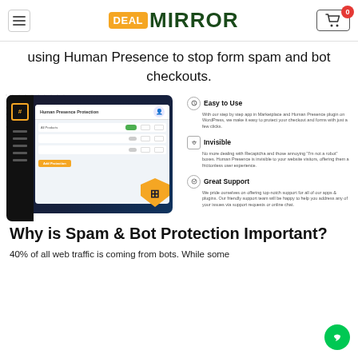Deal Mirror - Navigation header with logo and cart
using Human Presence to stop form spam and bot checkouts.
[Figure (screenshot): Screenshot of Human Presence Protection dashboard interface with feature list: Easy to Use, Invisible, Great Support]
Why is Spam & Bot Protection Important?
40% of all web traffic is coming from bots. While some